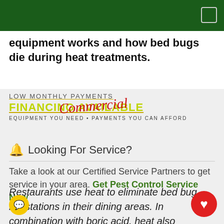equipment works and how bed bugs die during heat treatments.
[Figure (infographic): Commercial financing advertisement banner: LOW MONTHLY PAYMENTS, Commercial (in red italic script), FINANCING AVAILABLE (in yellow-green), EQUIPMENT YOU NEED • PAYMENTS YOU CAN AFFORD]
🔔 Looking For Service?
Take a look at our Certified Service Partners to get service in your area. Get Pest Control Service Now
Restaurants use heat to eliminate bed bug infestations in their dining areas. In combination with boric acid, heat also